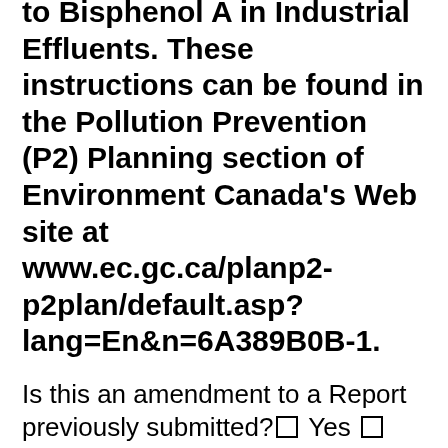to Bisphenol A in Industrial Effluents. These instructions can be found in the Pollution Prevention (P2) Planning section of Environment Canada's Web site at www.ec.gc.ca/planp2-p2plan/default.asp?lang=En&n=6A389B0B-1.
Is this an amendment to a Report previously submitted? ☐ Yes ☐ No
If yes, please specify the amended parts and reasons below. In addition, please complete Parts 1.0 and 9.0 and any other parts of this Report for which previously reported information has become false or